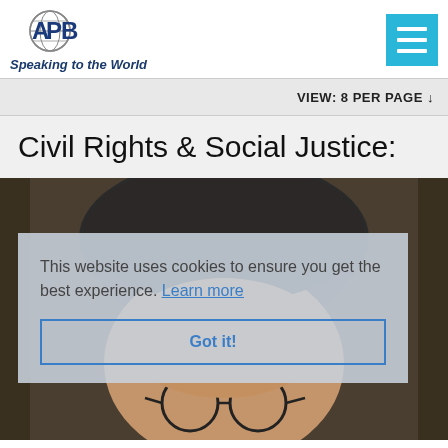[Figure (logo): APB logo with globe and letters APB, tagline 'Speaking to the World']
[Figure (other): Hamburger menu button (three horizontal lines) on cyan/blue background]
VIEW: 8 PER PAGE ↓
Civil Rights & Social Justice:
[Figure (photo): Close-up photo of a person with gray hair and glasses, partially obscured by cookie consent overlay]
This website uses cookies to ensure you get the best experience. Learn more
Got it!